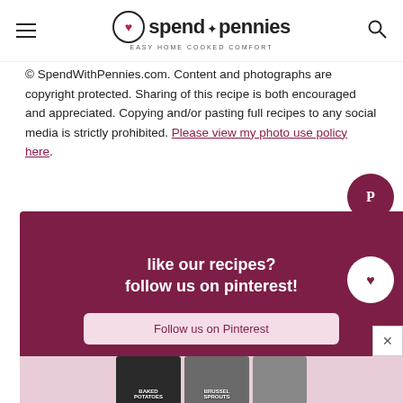spend with pennies — Easy Home Cooked Comfort
© SpendWithPennies.com. Content and photographs are copyright protected. Sharing of this recipe is both encouraged and appreciated. Copying and/or pasting full recipes to any social media is strictly prohibited. Please view my photo use policy here.
[Figure (infographic): Dark maroon Pinterest promotional banner with text 'like our recipes? follow us on pinterest!' and a 'Follow us on Pinterest' button, plus Pinterest circle badge icons]
[Figure (photo): Food photography strip showing recipe cards for baked potatoes and other dishes at the bottom of the page]